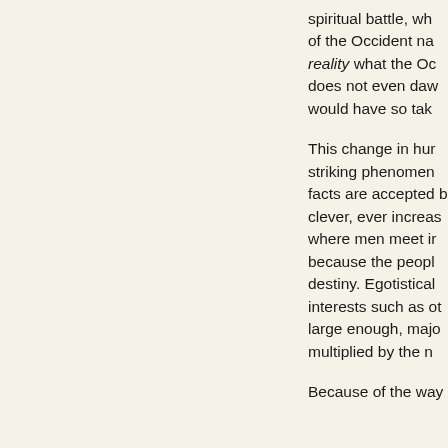spiritual battle, wh of the Occident na reality what the Oc does not even daw would have so tak This change in hur striking phenomen facts are accepted b clever, ever increas where men meet i because the peopl destiny. Egotistical interests such as ot large enough, majo multiplied by the n Because of the way